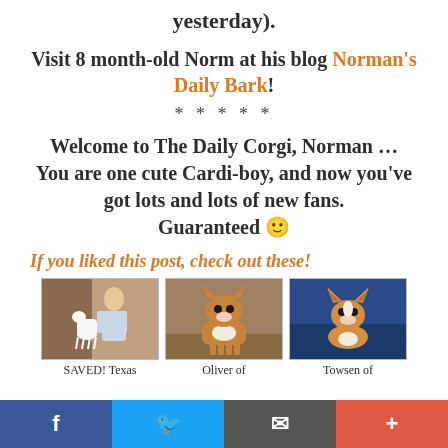yesterday).
Visit 8 month-old Norm at his blog Norman's Daily Bark!
* * * * *
Welcome to The Daily Corgi, Norman … You are one cute Cardi-boy, and now you've got lots and lots of new fans. Guaranteed 🙂
If you liked this post, check out these!
[Figure (photo): Three thumbnail photos of dogs: first shows a dog standing up with a person, second shows a corgi puppy standing, third shows a corgi puppy sitting against blue background. Labels: SAVED! Texas, Oliver of, Towsen of]
Facebook | Twitter | Email | Plus